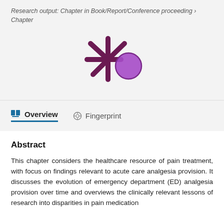Research output: Chapter in Book/Report/Conference proceeding › Chapter
[Figure (logo): Altmetric/Unpaywall style logo: dark purple asterisk/snowflake shape with a purple circle partially overlapping on the right side]
Overview
Fingerprint
Abstract
This chapter considers the healthcare resource of pain treatment, with focus on findings relevant to acute care analgesia provision. It discusses the evolution of emergency department (ED) analgesia provision over time and overviews the clinically relevant lessons of research into disparities in pain medication administration. The chapter also addresses breadth and